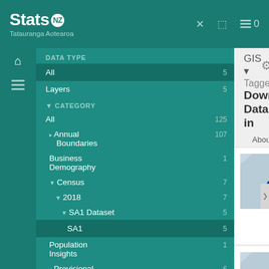[Figure (screenshot): Stats NZ Tatauranga Aotearoa logo in white on teal header bar with navigation icons]
Stats NZ Tatauranga Aotearoa — GIS portal header with icons
DATA TYPE
All 5
Layers 5
CATEGORY
All 125
Annual Boundaries 107
Business Demography 1
Census 7
2018 7
SA1 Dataset 5
SA1 5
Population Insights 1
Provisional Boundaries 6
Tourism 3
GROUP
All Groups 5
GIS ▾
Tagged:
Downloadable Data in
About  Data
2018 Census … Zealand by S
GIS
[Figure (map): Thumbnail map of New Zealand in blue on light blue-grey background]
2018 Census … New Zealand…
GIS
[Figure (map): Second thumbnail map of New Zealand in blue on light blue-grey background]